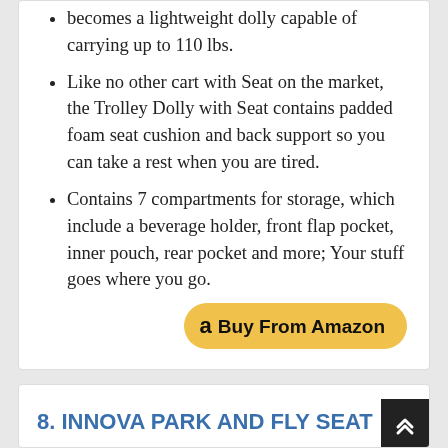becomes a lightweight dolly capable of carrying up to 110 lbs.
Like no other cart with Seat on the market, the Trolley Dolly with Seat contains padded foam seat cushion and back support so you can take a rest when you are tired.
Contains 7 compartments for storage, which include a beverage holder, front flap pocket, inner pouch, rear pocket and more; Your stuff goes where you go.
[Figure (other): Buy From Amazon button with Amazon logo]
8. INNOVA PARK AND FLY SEAT